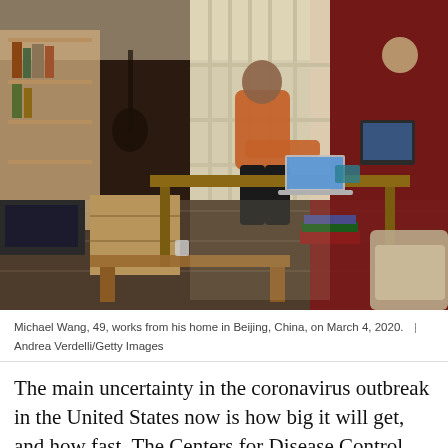[Figure (photo): A man (Michael Wang, 49) sits at a wooden desk working on a laptop computer in his home in Beijing, China. The room has bookshelves on the left, a guitar, a bright window behind him, and a red wall on the right. Books are stacked under the table and a coffee table is visible in the foreground. Taken on March 4, 2020.]
Michael Wang, 49, works from his home in Beijing, China, on March 4, 2020.  |  Andrea Verdelli/Getty Images
The main uncertainty in the coronavirus outbreak in the United States now is how big it will get, and how fast. The Centers for Disease Control and Prevention's Nancy Messonnier told reporters on March 9, "many people in the US will at some point